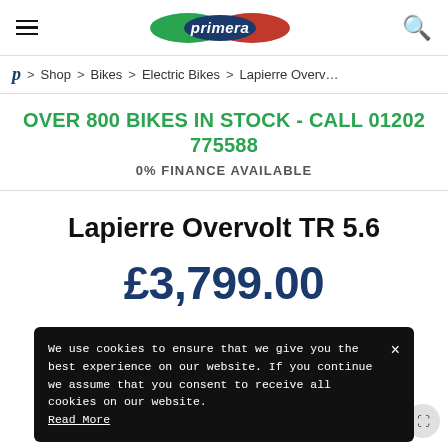primera — hamburger menu, logo, search icon
Home > Shop > Bikes > Electric Bikes > Lapierre Overv…
OVER 800 BIKES IN STOCK - CALL 01202 775588
0% FINANCE AVAILABLE
Lapierre Overvolt TR 5.6
£3,799.00
We use cookies to ensure that we give you the best experience on our website. If you continue we assume that you consent to receive all cookies on our website. Read More